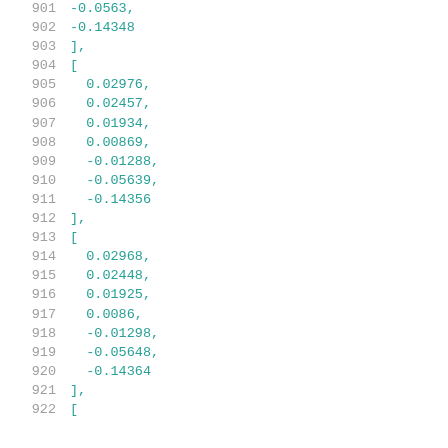901   -0.0563,
902   -0.14348
903   ],
904   [
905   0.02976,
906   0.02457,
907   0.01934,
908   0.00869,
909   -0.01288,
910   -0.05639,
911   -0.14356
912   ],
913   [
914   0.02968,
915   0.02448,
916   0.01925,
917   0.0086,
918   -0.01298,
919   -0.05648,
920   -0.14364
921   ],
922   [